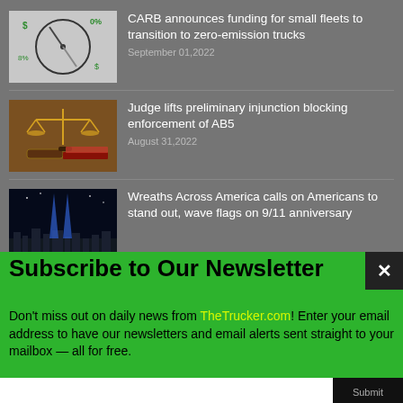[Figure (photo): Compass and financial/percentage symbols on a light background]
CARB announces funding for small fleets to transition to zero-emission trucks
September 01,2022
[Figure (photo): Scales of justice and a gavel on a desk with books]
Judge lifts preliminary injunction blocking enforcement of AB5
August 31,2022
[Figure (photo): Night cityscape with blue memorial beams of light — 9/11 tribute]
Wreaths Across America calls on Americans to stand out, wave flags on 9/11 anniversary
Subscribe to Our Newsletter
Don't miss out on daily news from TheTrucker.com! Enter your email address to have our newsletters and email alerts sent straight to your mailbox — all for free.
Submit
✓ We don't share your information with anyone.